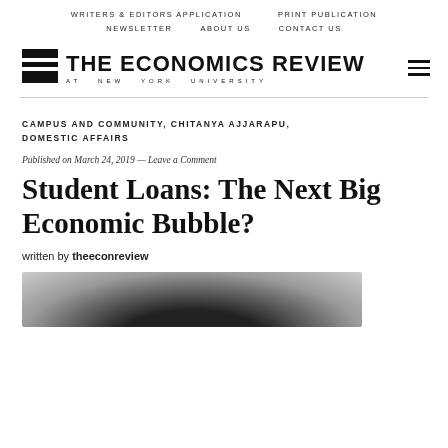WRITERS & EDITORS APPLICATION   PRINT PUBLICATION   NEWSLETTER   ABOUT US   CONTACT US
[Figure (logo): The Economics Review at New York University logo with horizontal bar icon and hamburger menu]
CAMPUS AND COMMUNITY, CHITANYA AJJARAPU, DOMESTIC AFFAIRS
Published on March 24, 2019 — Leave a Comment
Student Loans: The Next Big Economic Bubble?
written by theeconreview
[Figure (photo): Black and white photo of a person, partially visible at bottom of page]